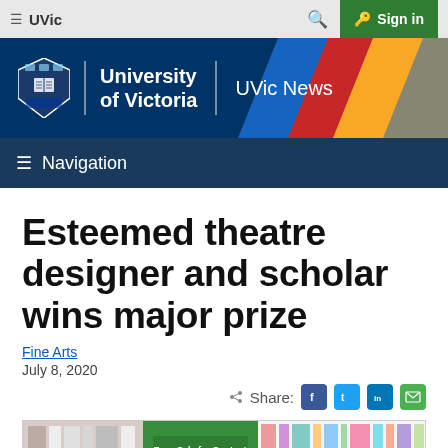≡ UVic | 🔍 Sign in
[Figure (logo): University of Victoria UVic News header banner with shield logo and colorful diagonal stripes (blue, red, yellow)]
≡ Navigation
Esteemed theatre designer and scholar wins major prize
Fine Arts
July 8, 2020
Share: [Facebook] [Twitter] [LinkedIn] [Email]
[Figure (photo): Partial view of a photo showing books and colorful spines at the bottom of the page]